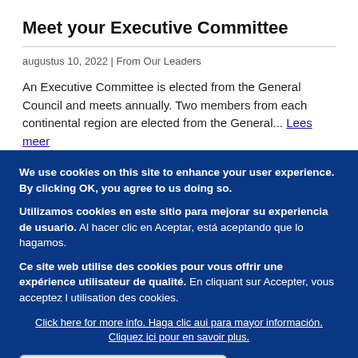Meet your Executive Committee
augustus 10, 2022 | From Our Leaders
An Executive Committee is elected from the General Council and meets annually. Two members from each continental region are elected from the General... Lees meer
We use cookies on this site to enhance your user experience. By clicking OK, you agree to us doing so.
Utilizamos cookies en este sitio para mejorar su experiencia de usuario. Al hacer clic en Aceptar, está aceptando que lo hagamos.
Ce site web utilise des cookies pour vous offrir une expérience utilisateur de qualité. En cliquant sur Accepter, vous acceptez l utilisation des cookies.
Click here for more info. Haga clic aui para mayor información. Cliquez ici pour en savoir plus.
OK, I agree. De acuerdo. Accepter.
No, thanks. No, gracias. Non merci.